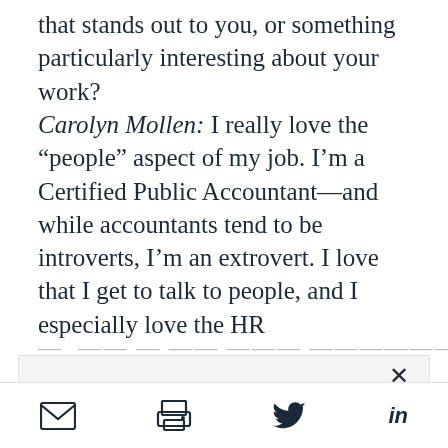that stands out to you, or something particularly interesting about your work?
Carolyn Mollen: I really love the “people” aspect of my job. I’m a Certified Public Accountant—and while accountants tend to be introverts, I’m an extrovert. I love that I get to talk to people, and I especially love the HR
We use cookies to provide you with a better service. Carry on browsing if you’re happy with this, or find out more.
[Figure (other): Bottom toolbar with email, print, Twitter, and LinkedIn social sharing icons]